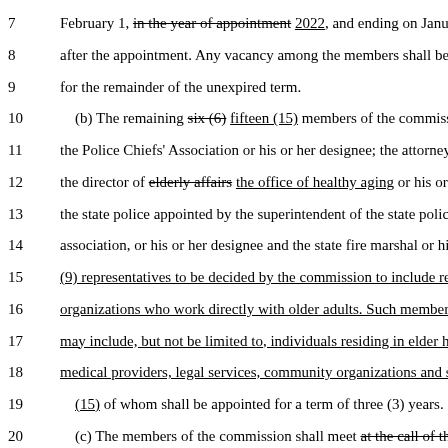7    February 1, in the year of appointment 2022, and ending on Janua
8    after the appointment. Any vacancy among the members shall be
9    for the remainder of the unexpired term.
10   (b) The remaining six (6) fifteen (15) members of the commiss
11   the Police Chiefs' Association or his or her designee; the attorney
12   the director of elderly affairs the office of healthy aging or his or
13   the state police appointed by the superintendent of the state police
14   association, or his or her designee and the state fire marshal or his
15   (9) representatives to be decided by the commission to include re
16   organizations who work directly with older adults. Such members
17   may include, but not be limited to, individuals residing in elder ho
18   medical providers, legal services, community organizations and s
19   (15) of whom shall be appointed for a term of three (3) years.
20   (c) The members of the commission shall meet at the call of th